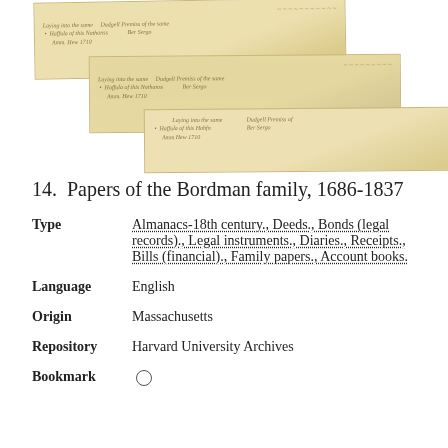[Figure (photo): Three overlapping strips of aged parchment/paper with old handwritten cursive script, showing historical documents in sepia/tan tones.]
14.  Papers of the Bordman family, 1686-1837
Type   Almanacs-18th century., Deeds., Bonds (legal records)., Legal instruments., Diaries., Receipts., Bills (financial)., Family papers., Account books.
Language   English
Origin   Massachusetts
Repository   Harvard University Archives
Bookmark   ○